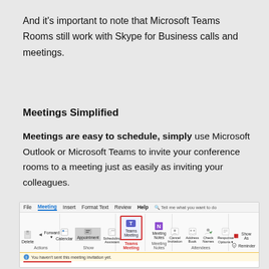And it's important to note that Microsoft Teams Rooms still work with Skype for Business calls and meetings.
Meetings Simplified
Meetings are easy to schedule, simply use Microsoft Outlook or Microsoft Teams to invite your conference rooms to a meeting just as easily as inviting your colleagues.
[Figure (screenshot): Microsoft Outlook Meeting ribbon toolbar showing Teams Meeting button highlighted with a red border. Menu bar includes File, Meeting (active), Insert, Format Text, Review, Help tabs. Ribbon shows Actions group (Delete, Forward), Show group (Calendar, Appointment, Scheduling Assistant), Teams Meeting group highlighted in red, Meeting Notes group, and Attendees group (Cancel Invitation, Address Book, Check Names, Response Options). Show As and Reminder options visible on right. Status bar shows 'You haven't sent this meeting invitation yet.' with a red underline indicator.]